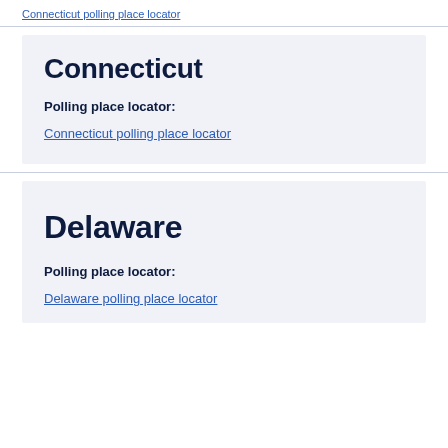Connecticut polling place locator (partial top link)
Connecticut
Polling place locator:
Connecticut polling place locator
Delaware
Polling place locator:
Delaware polling place locator